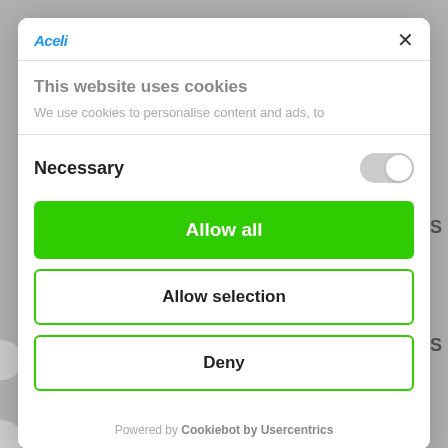[Figure (screenshot): Cookie consent modal dialog over a website background. The modal has an Aceli logo and close X button in the header, a 'This website uses cookies' title with subtitle text, a Necessary section with a toggle switch, three buttons (Allow all, Allow selection, Deny), and a 'Powered by Cookiebot by Usercentrics' footer.]
This website uses cookies
We use cookies to personalise content and ads, to
Necessary
Allow all
Allow selection
Deny
Powered by Cookiebot by Usercentrics
ACMI PRESENTS "EASYMAY": AN AL...